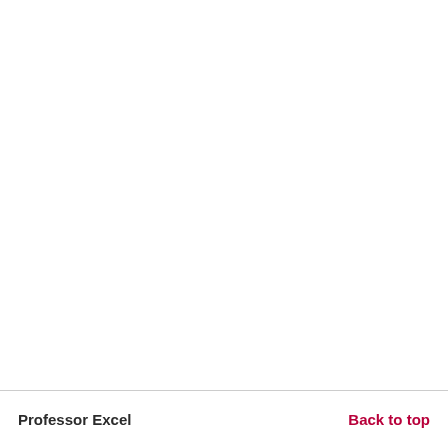Professor Excel    Back to top